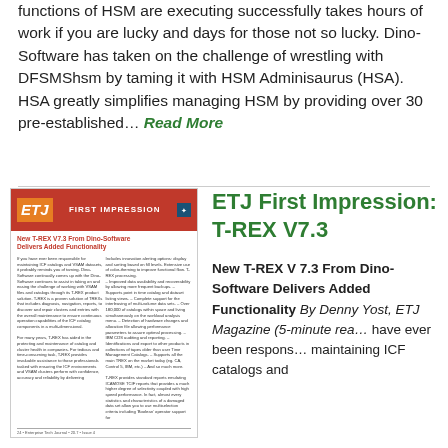functions of HSM are executing successfully takes hours of work if you are lucky and days for those not so lucky. Dino-Software has taken on the challenge of wrestling with DFSMShsm by taming it with HSM Adminisaurus (HSA). HSA greatly simplifies managing HSM by providing over 30 pre-established... Read More
[Figure (other): ETJ First Impression magazine cover — New T-REX V7.3 From Dino-Software Delivers Added Functionality]
ETJ First Impression: T-REX V7.3
New T-REX V 7.3 From Dino-Software Delivers Added Functionality By Denny Yost, ETJ Magazine (5-minute read) have ever been responsible for maintaining ICF catalogs and